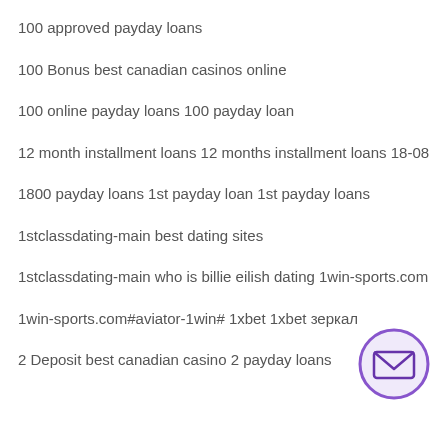100 approved payday loans
100 Bonus best canadian casinos online
100 online payday loans 100 payday loan
12 month installment loans 12 months installment loans 18-08
1800 payday loans 1st payday loan 1st payday loans
1stclassdating-main best dating sites
1stclassdating-main who is billie eilish dating 1win-sports.com
1win-sports.com#aviator-1win# 1xbet 1xbet зеркал
2 Deposit best canadian casino 2 payday loans
[Figure (illustration): Purple circle with envelope/mail icon inside]